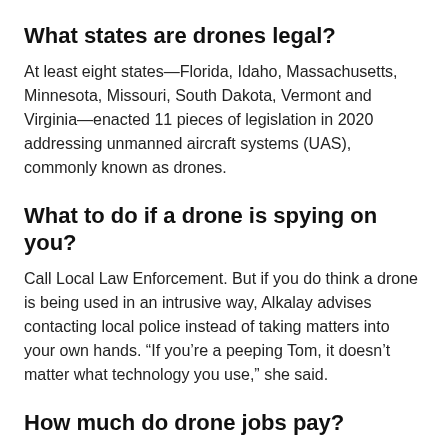What states are drones legal?
At least eight states—Florida, Idaho, Massachusetts, Minnesota, Missouri, South Dakota, Vermont and Virginia—enacted 11 pieces of legislation in 2020 addressing unmanned aircraft systems (UAS), commonly known as drones.
What to do if a drone is spying on you?
Call Local Law Enforcement. But if you do think a drone is being used in an intrusive way, Alkalay advises contacting local police instead of taking matters into your own hands. “If you’re a peeping Tom, it doesn’t matter what technology you use,” she said.
How much do drone jobs pay?
Salary Recap
The average pay for a Drone Pilot is $68,076 a year and $33 an hour in California, United States. The average salary range